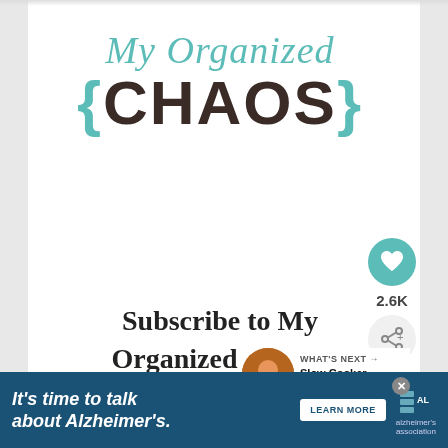[Figure (logo): My Organized Chaos blog logo — script text 'My Organized' in teal above bold serif '{CHAOS}' in dark brown with teal curly braces]
Subscribe to My Organized Chaos!
WHAT'S NEXT → Slow Cooker Butter...
Get updates on the latest posts and more from
[Figure (infographic): Advertisement banner: 'It's time to talk about Alzheimer's.' with LEARN MORE button and Alzheimer's Association logo]